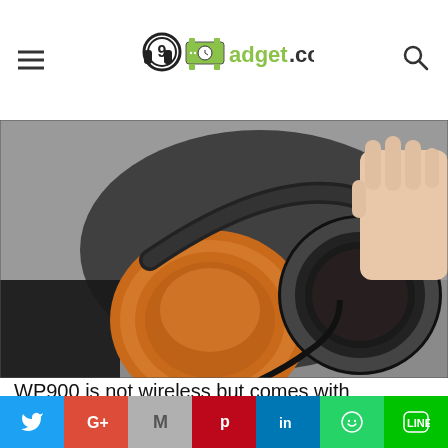9adget.com
[Figure (photo): Close-up photo of a pair of over-ear headphones being held, showing a wooden-accented ear cup with black leather padding and a black headband. Red-shoed feet visible in the background on a grey floor.]
WP900 is not wireless but comes with detachable cables. The headset is very lightweight but not foldable. If you have some